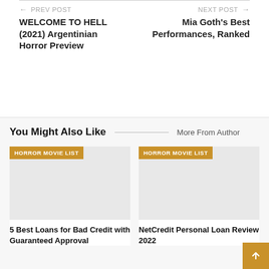← PREV POST
WELCOME TO HELL (2021) Argentinian Horror Preview
NEXT POST →
Mia Goth's Best Performances, Ranked
You Might Also Like
More From Author
[Figure (other): Horror Movie List card image placeholder with HORROR MOVIE LIST badge]
5 Best Loans for Bad Credit with Guaranteed Approval
[Figure (other): Horror Movie List card image placeholder with HORROR MOVIE LIST badge]
NetCredit Personal Loan Review 2022